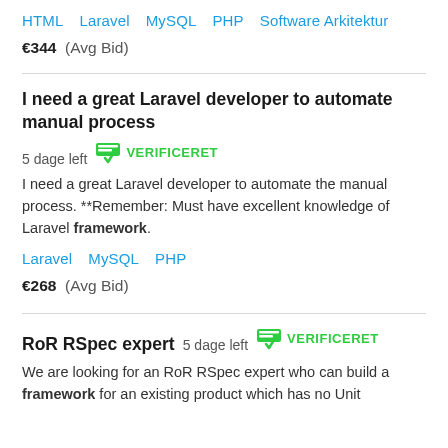HTML   Laravel   MySQL   PHP   Software Arkitektur
€344  (Avg Bid)
I need a great Laravel developer to automate manual process  5 dage left  VERIFICERET
I need a great Laravel developer to automate the manual process. **Remember: Must have excellent knowledge of Laravel framework.
Laravel   MySQL   PHP
€268  (Avg Bid)
RoR RSpec expert  5 dage left  VERIFICERET
We are looking for an RoR RSpec expert who can build a framework for an existing product which has no Unit